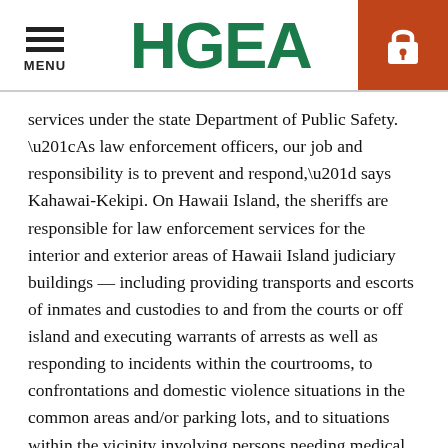MENU | HGEA
services under the state Department of Public Safety.
“As law enforcement officers, our job and responsibility is to prevent and respond,” says Kahawai-Kekipi. On Hawaii Island, the sheriffs are responsible for law enforcement services for the interior and exterior areas of Hawaii Island judiciary buildings — including providing transports and escorts of inmates and custodies to and from the courts or off island and executing warrants of arrests as well as responding to incidents within the courtrooms, to confrontations and domestic violence situations in the common areas and/or parking lots, and to situations within the vicinity involving persons needing medical assistance due to illnesses or injuries.